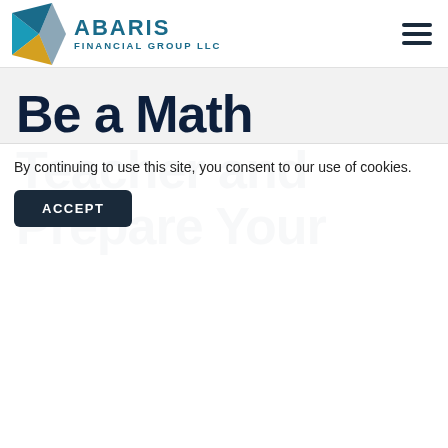[Figure (logo): Abaris Financial Group LLC logo with blue and gold geometric arrow/triangle icon and teal company name text]
Be a Math Teacher and Prepare Your
By continuing to use this site, you consent to our use of cookies.